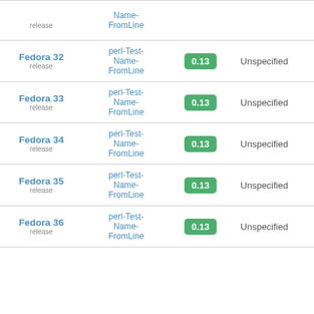| Distribution | Package | Version | Status |  |
| --- | --- | --- | --- | --- |
| Fedora 32 release | perl-Test-Name-FromLine | 0.13 | Unspecified | - |
| Fedora 33 release | perl-Test-Name-FromLine | 0.13 | Unspecified | - |
| Fedora 34 release | perl-Test-Name-FromLine | 0.13 | Unspecified | - |
| Fedora 35 release | perl-Test-Name-FromLine | 0.13 | Unspecified | - |
| Fedora 36 release | perl-Test-Name-FromLine | 0.13 | Unspecified | - |